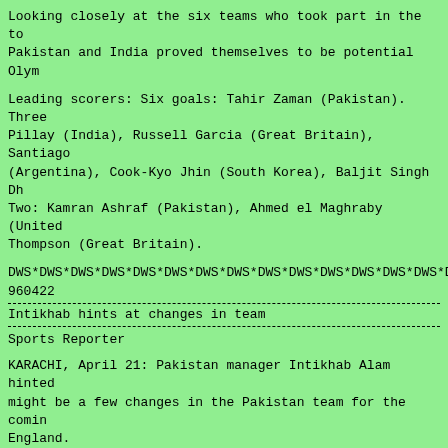Looking closely at the six teams who took part in the tournament, Pakistan and India proved themselves to be potential Olym...
Leading scorers: Six goals: Tahir Zaman (Pakistan). Three... Pillay (India), Russell Garcia (Great Britain), Santiago (Argentina), Cook-Kyo Jhin (South Korea), Baljit Singh Dh... Two: Kamran Ashraf (Pakistan), Ahmed el Maghraby (United... Thompson (Great Britain).
DWS*DWS*DWS*DWS*DWS*DWS*DWS*DWS*DWS*DWS*DWS*DWS*DWS*DWS*D...
960422
Intikhab hints at changes in team
Sports Reporter
KARACHI, April 21: Pakistan manager Intikhab Alam hinted might be a few changes in the Pakistan team for the coming England.
"It's time that stern decisions are taken in terms of per... the players from the series against Sri Lanka to the rece... tournament in Sharjah," Intikhab said, adding: "The time the players are selected on their current track record th... achievements."
Intikhab, without disclosing the names, said a few player... the bus for the England tour. "We are planning to take a because England tour is also an educational tour. We will county matches in which we can try them and if find tale...